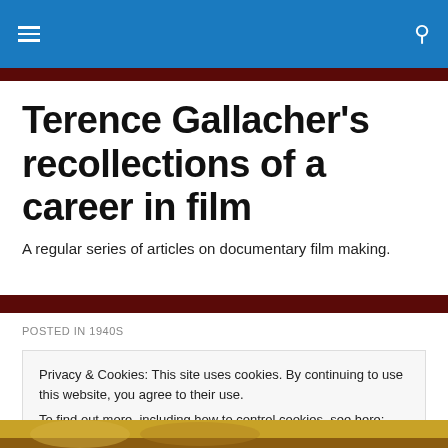Navigation bar with hamburger menu and search icon
Terence Gallacher's recollections of a career in film
A regular series of articles on documentary film making.
POSTED IN 1940S
Privacy & Cookies: This site uses cookies. By continuing to use this website, you agree to their use.
To find out more, including how to control cookies, see here: Cookie Policy
Close and accept
[Figure (photo): Bottom strip showing partial photo, appears to be people in a yellow/ochre colored scene]